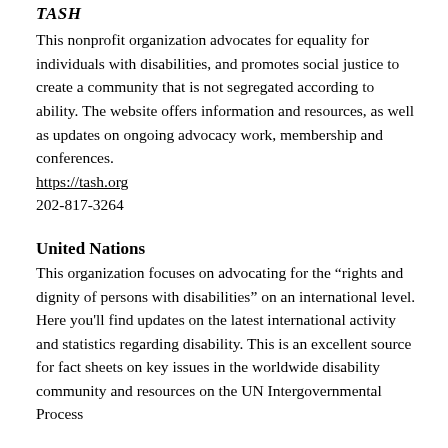TASH
This nonprofit organization advocates for equality for individuals with disabilities, and promotes social justice to create a community that is not segregated according to ability. The website offers information and resources, as well as updates on ongoing advocacy work, membership and conferences.
https://tash.org
202-817-3264
United Nations
This organization focuses on advocating for the “rights and dignity of persons with disabilities” on an international level. Here you'll find updates on the latest international activity and statistics regarding disability. This is an excellent source for fact sheets on key issues in the worldwide disability community and resources on the UN Intergovernmental Process